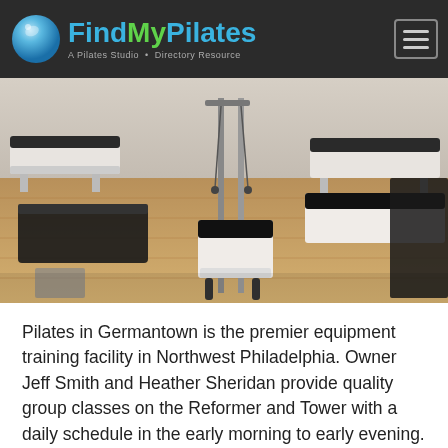FindMyPilates — A Pilates Studio Directory Resource
[Figure (photo): Interior of a Pilates studio in Germantown showing Reformer and Tower equipment on a hardwood floor, with white-framed machines and black padding visible throughout the room.]
Pilates in Germantown is the premier equipment training facility in Northwest Philadelphia. Owner Jeff Smith and Heather Sheridan provide quality group classes on the Reformer and Tower with a daily schedule in the early morning to early evening.